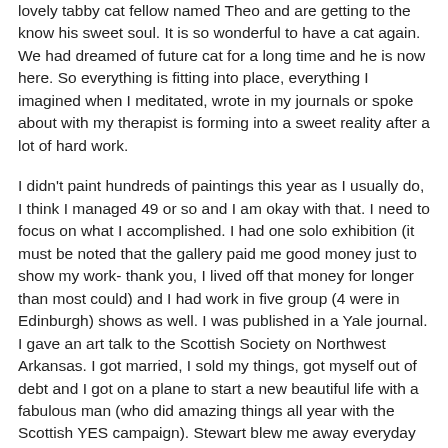lovely tabby cat fellow named Theo and are getting to the know his sweet soul. It is so wonderful to have a cat again. We had dreamed of future cat for a long time and he is now here. So everything is fitting into place, everything I imagined when I meditated, wrote in my journals or spoke about with my therapist is forming into a sweet reality after a lot of hard work.
I didn't paint hundreds of paintings this year as I usually do, I think I managed 49 or so and I am okay with that. I need to focus on what I accomplished. I had one solo exhibition (it must be noted that the gallery paid me good money just to show my work- thank you, I lived off that money for longer than most could) and I had work in five group (4 were in Edinburgh) shows as well. I was published in a Yale journal. I gave an art talk to the Scottish Society on Northwest Arkansas. I got married, I sold my things, got myself out of debt and I got on a plane to start a new beautiful life with a fabulous man (who did amazing things all year with the Scottish YES campaign). Stewart blew me away everyday with his talent and dedication to the cause and yet he still showed up to support and love me all the while through the